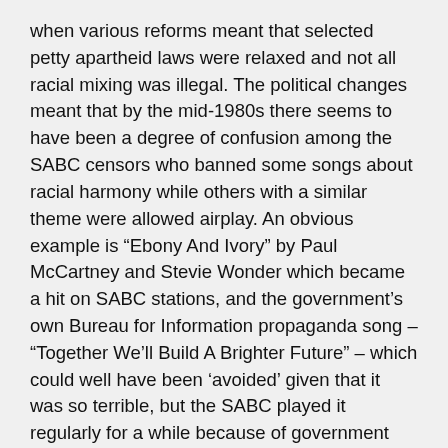when various reforms meant that selected petty apartheid laws were relaxed and not all racial mixing was illegal. The political changes meant that by the mid-1980s there seems to have been a degree of confusion among the SABC censors who banned some songs about racial harmony while others with a similar theme were allowed airplay. An obvious example is “Ebony And Ivory” by Paul McCartney and Stevie Wonder which became a hit on SABC stations, and the government’s own Bureau for Information propaganda song – “Together We’ll Build A Brighter Future” – which could well have been ‘avoided’ given that it was so terrible, but the SABC played it regularly for a while because of government orders and probably because they got paid to play it (anyone with information about this please step forward!).
All that aside, some songs were nevertheless banned